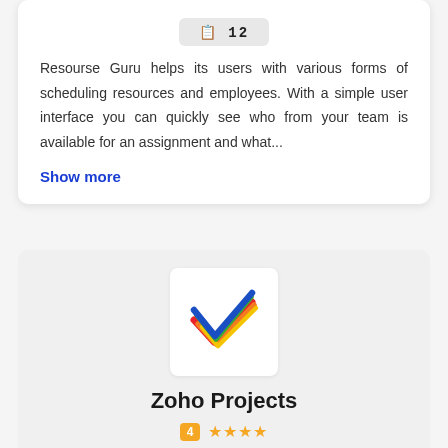[Figure (logo): Resource Guru application icon box with text ID 12]
Resourse Guru helps its users with various forms of scheduling resources and employees. With a simple user interface you can quickly see who from your team is available for an assignment and what...
Show more
[Figure (logo): Zoho Projects logo — colorful checkmark with red, orange, yellow, green, and blue parallel lines forming a checkmark shape]
Zoho Projects
★★★★